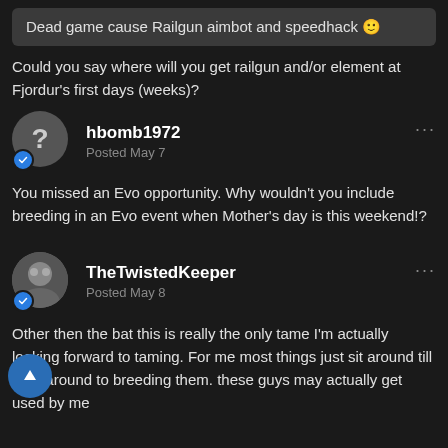Dead game cause Railgun aimbot and speedhack 🙂
Could you say where will you get railgun and/or element at Fjordur's first days (weeks)?
hbomb1972
Posted May 7
You missed an Evo opportunity. Why wouldn't you include breeding in an Evo event when Mother's day is this weekend!?
TheTwistedKeeper
Posted May 8
Other then the bat this is really the only tame I'm actually looking forward to taming. For me most things just sit around till I get around to breeding them. these guys may actually get used by me